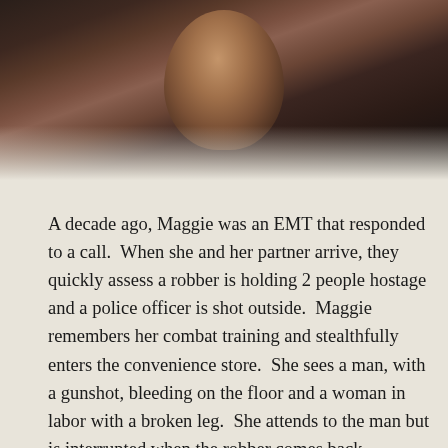[Figure (photo): A woman with long wavy reddish-brown hair wearing a dark top, photographed indoors in a dimly lit setting.]
A decade ago, Maggie was an EMT that responded to a call.  When she and her partner arrive, they quickly assess a robber is holding 2 people hostage and a police officer is shot outside.  Maggie remembers her combat training and stealthfully enters the convenience store.  She sees a man, with a gunshot, bleeding on the floor and a woman in labor with a broken leg.  She attends to the man but is interrupted when the robber comes back.  Maggie offers to give him money and an escape.  The robber takes her money and tells her she can save one person.  She sees that the man is bleeding out and goes to him.  But the man stops her dead in her tracks when the screams “Save Her”.  Maggie runs to the pregnant woman and helps her out.  The robber shoots a few more shots and is taken down by the police.  Maggie runs in to help the man but he dies her arms.  Today, Maggie is ready to get back to work, has a bratty teen daughter and devoted, hard-